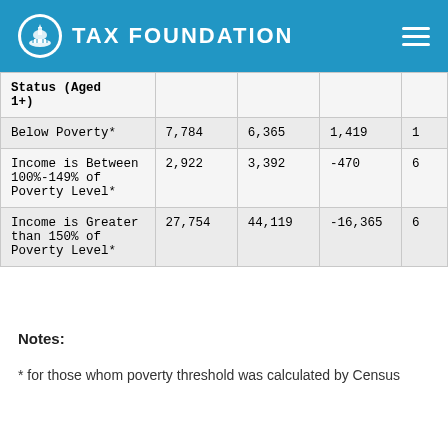TAX FOUNDATION
| Status (Aged 1+) |  |  |  |  |
| --- | --- | --- | --- | --- |
| Below Poverty* | 7,784 | 6,365 | 1,419 | 1 |
| Income is Between 100%-149% of Poverty Level* | 2,922 | 3,392 | -470 | 6 |
| Income is Greater than 150% of Poverty Level* | 27,754 | 44,119 | -16,365 | 6 |
Notes:
* for those whom poverty threshold was calculated by Census